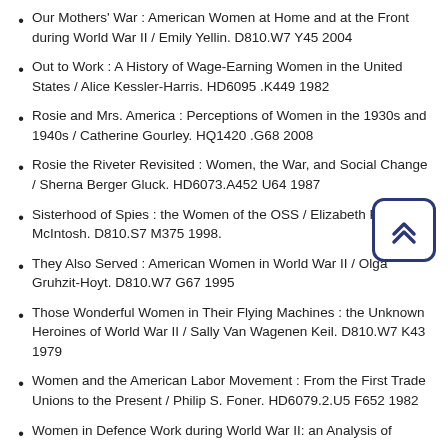Our Mothers' War : American Women at Home and at the Front during World War II / Emily Yellin. D810.W7 Y45 2004
Out to Work : A History of Wage-Earning Women in the United States / Alice Kessler-Harris. HD6095 .K449 1982
Rosie and Mrs. America : Perceptions of Women in the 1930s and 1940s / Catherine Gourley. HQ1420 .G68 2008
Rosie the Riveter Revisited : Women, the War, and Social Change / Sherna Berger Gluck. HD6073.A452 U64 1987
Sisterhood of Spies : the Women of the OSS / Elizabeth P. McIntosh. D810.S7 M375 1998.
They Also Served : American Women in World War II / Olga Gruhzit-Hoyt. D810.W7 G67 1995
Those Wonderful Women in Their Flying Machines : the Unknown Heroines of World War II / Sally Van Wagenen Keil. D810.W7 K43 1979
Women and the American Labor Movement : From the First Trade Unions to the Present / Philip S. Foner. HD6079.2.U5 F652 1982
Women in Defence Work during World War II: an Analysis of